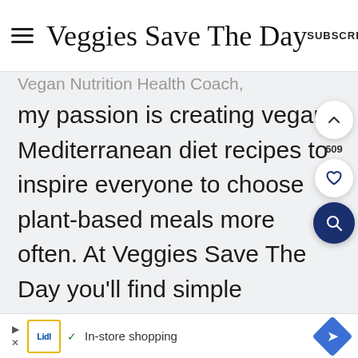Veggies Save The Day | SUBSCRIBE
Vegan Nutrition Health Coach, my passion is creating vegan Mediterranean diet recipes to inspire everyone to choose plant-based meals more often. At Veggies Save The Day you'll find simple delicious recipes that are easy to make any night of the week.
[Figure (screenshot): Advertisement bar showing Lidl logo with 'In-store shopping' text and navigation arrow icon]